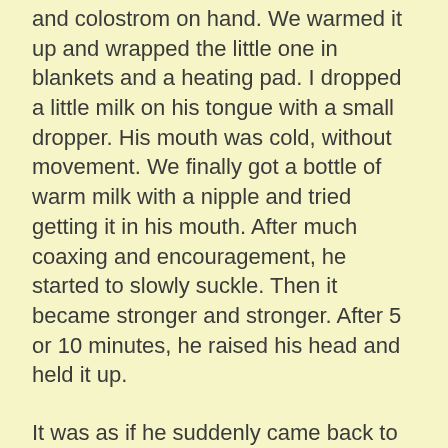and colostrom on hand. We warmed it up and wrapped the little one in blankets and a heating pad. I dropped a little milk on his tongue with a small dropper. His mouth was cold, without movement. We finally got a bottle of warm milk with a nipple and tried getting it in his mouth. After much coaxing and encouragement, he started to slowly suckle. Then it became stronger and stronger. After 5 or 10 minutes, he raised his head and held it up.
It was as if he suddenly came back to life. We all cheered in Alisande's kitchen. It was a real miracle! We thanked our friends. I tucked him back under my coat and we brought him home.
We named him Pax, meaning peace. Yesterday, he ate well, but today his appetite has faded along with his energy levels. We need to bring him to a vet to